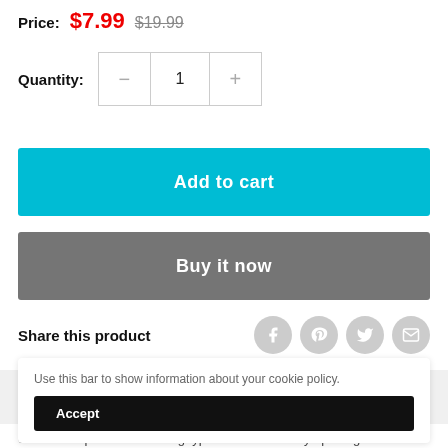Price: $7.99 $19.99
Quantity: 1
Add to cart
Buy it now
Share this product
Use this bar to show information about your cookie policy.
Accept
convenient place. Drawstring type sack offers easy opening and